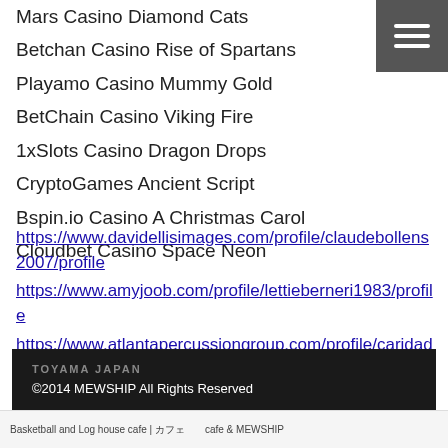Mars Casino Diamond Cats
Betchan Casino Rise of Spartans
Playamo Casino Mummy Gold
BetChain Casino Viking Fire
1xSlots Casino Dragon Drops
CryptoGames Ancient Script
Bspin.io Casino A Christmas Carol
Cloudbet Casino Space Neon
https://www.davidellisimages.com/profile/claudebollens2007/profile https://www.amyjoob.com/profile/lettieberneri1983/profile https://www.atlantapercussiongroup.com/profile/caridadkracke1986/profile https://www.juliannetaylorstyle.com/profile/molliemortis1976/profile
TOYAMA JAPAN
©2014 MEWSHIP All Rights Reserved
Basketball and Log house cafe | カフェ＆MEWSHIP